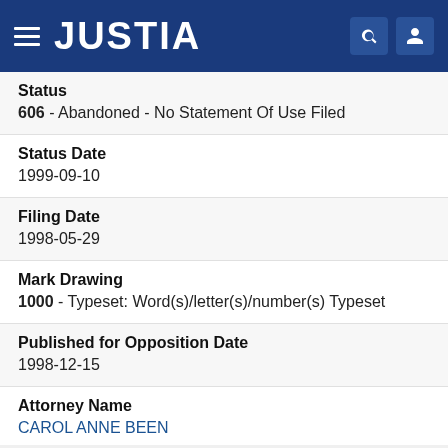JUSTIA
Status
606 - Abandoned - No Statement Of Use Filed
Status Date
1999-09-10
Filing Date
1998-05-29
Mark Drawing
1000 - Typeset: Word(s)/letter(s)/number(s) Typeset
Published for Opposition Date
1998-12-15
Attorney Name
CAROL ANNE BEEN